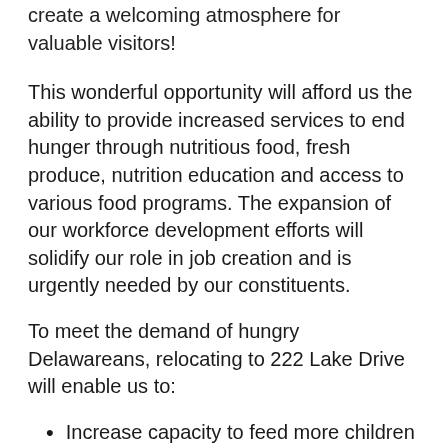create a welcoming atmosphere for valuable visitors!
This wonderful opportunity will afford us the ability to provide increased services to end hunger through nutritious food, fresh produce, nutrition education and access to various food programs. The expansion of our workforce development efforts will solidify our role in job creation and is urgently needed by our constituents.
To meet the demand of hungry Delawareans, relocating to 222 Lake Drive will enable us to:
Increase capacity to feed more children and seniors through our hunger relief programs
Create infrastructure for farmers to donate surplus fresh produce to neighbors in need
Accept more nutritious, perishable foods from retailers thanks to additional refrigeration and